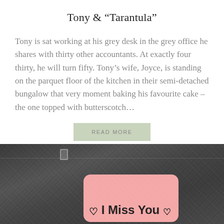Tony & "Tarantula"
Tony is sat working at his grey desk in the grey office he shares with thirty other accountants. At exactly four thirty, he will turn fifty. Tony’s wife, Joyce, is standing on the parquet floor of the kitchen in their semi-detached bungalow that very moment baking his favourite cake – the one topped with butterscotch…
READ MORE
[Figure (photo): A close-up photo of dark denim jeans fabric with a pink sticky note/tag placed near a pocket. The note reads: heart symbol, I Miss You, heart symbol, written in handwriting.]